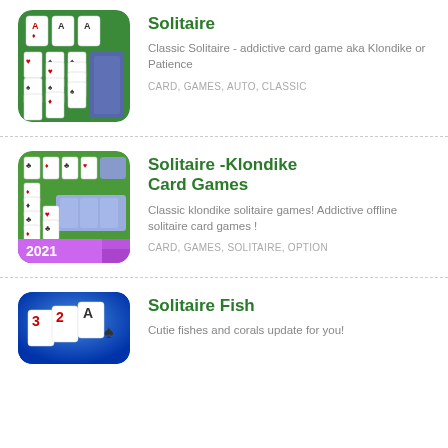[Figure (screenshot): Solitaire card game app icon showing green felt with playing cards arranged in columns and aces at top]
Solitaire
Classic Solitaire - addictive card game aka Klondike or Patience
CARD, GAMES, AUTO, CLASSIC
[Figure (screenshot): Solitaire Klondike card game app icon showing green felt with playing cards and 2021 label at bottom]
Solitaire -Klondike Card Games
Classic klondike solitaire games! Addictive offline solitaire card games !
CARD, GAMES, SOLITAIRE, OPTION
[Figure (screenshot): Solitaire Fish app icon showing cards 3, 2, A on blue underwater background]
Solitaire Fish
Cutie fishes and corals update for you!